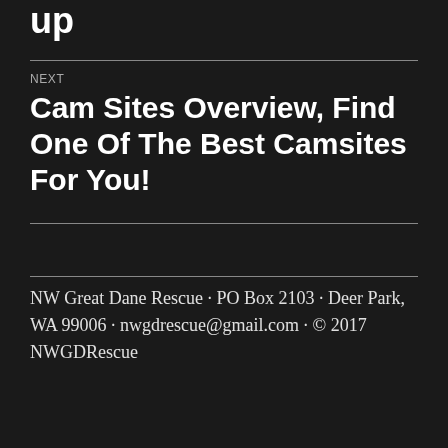up
NEXT
Cam Sites Overview, Find One Of The Best Camsites For You!
NW Great Dane Rescue · PO Box 2103 · Deer Park, WA 99006 · nwgdrescue@gmail.com · © 2017 NWGDRescue